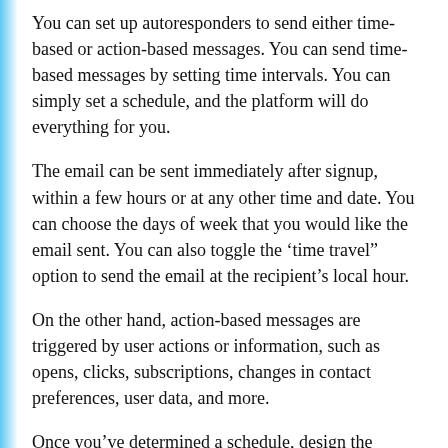You can set up autoresponders to send either time-based or action-based messages. You can send time-based messages by setting time intervals. You can simply set a schedule, and the platform will do everything for you.
The email can be sent immediately after signup, within a few hours or at any other time and date. You can choose the days of week that you would like the email sent. You can also toggle the ‘time travel” option to send the email at the recipient’s local hour.
On the other hand, action-based messages are triggered by user actions or information, such as opens, clicks, subscriptions, changes in contact preferences, user data, and more.
Once you’ve determined a schedule, design the email, then publish it. You can maximize this feature by combining it with